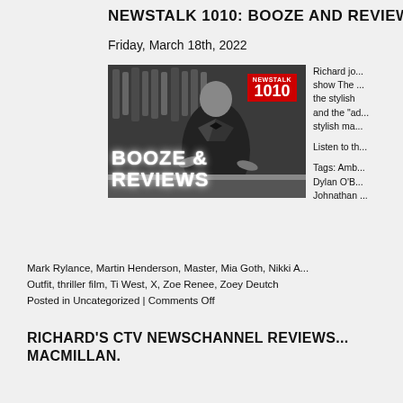NEWSTALK 1010: BOOZE AND REVIEWS WI...
Friday, March 18th, 2022
[Figure (photo): Black and white photo of a bartender with BOOZE & REVIEWS neon text overlay and NEWSTALK 1010 badge in red]
Richard jo... show The ... the stylish... and the "ad... stylish ma...

Listen to th...

Tags: Amb... Dylan O'B... Johnathan ...
Mark Rylance, Martin Henderson, Master, Mia Goth, Nikki A... Outfit, thriller film, Ti West, X, Zoe Renee, Zoey Deutch
Posted in Uncategorized | Comments Off
RICHARD'S CTV NEWSCHANNEL REVIEWS... MACMILLAN.